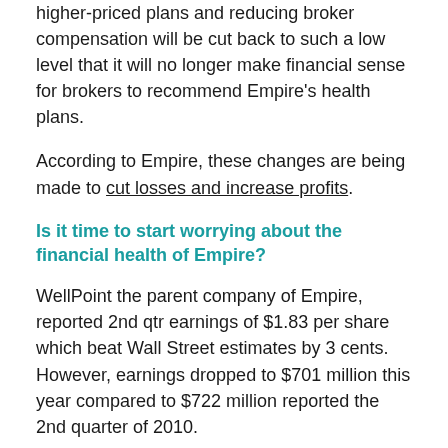higher-priced plans and reducing broker compensation will be cut back to such a low level that it will no longer make financial sense for brokers to recommend Empire's health plans.
According to Empire, these changes are being made to cut losses and increase profits.
Is it time to start worrying about the financial health of Empire?
WellPoint the parent company of Empire, reported 2nd qtr earnings of $1.83 per share which beat Wall Street estimates by 3 cents. However, earnings dropped to $701 million this year compared to $722 million reported the 2nd quarter of 2010.
According to a 2009 report by WellPoint, 87 cents of every premium dollar paid into health care plans, "is spent on providing medical services to members: physician services, hospital costs (inpatient and outpatient costs), drugs and other medical services,leaving a mere 3% for the insurers' profits."